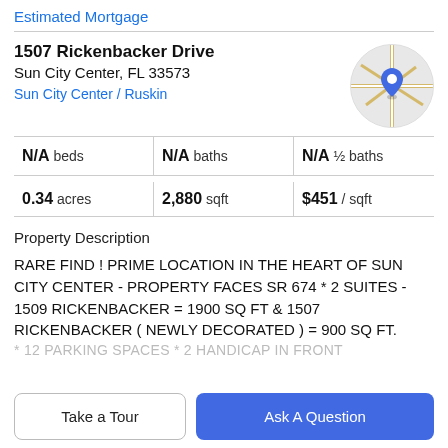Estimated Mortgage
1507 Rickenbacker Drive
Sun City Center, FL 33573
Sun City Center / Ruskin
[Figure (map): Circular map thumbnail showing street map with blue location pin marker]
| N/A beds | N/A baths | N/A ½ baths |
| 0.34 acres | 2,880 sqft | $451 / sqft |
Property Description
RARE FIND ! PRIME LOCATION IN THE HEART OF SUN CITY CENTER - PROPERTY FACES SR 674 * 2 SUITES - 1509 RICKENBACKER = 1900 SQ FT & 1507 RICKENBACKER ( NEWLY DECORATED ) = 900 SQ FT.
* 12 PARKING SPACES * 2 HANDICAP IN FRONT
Take a Tour
Ask A Question